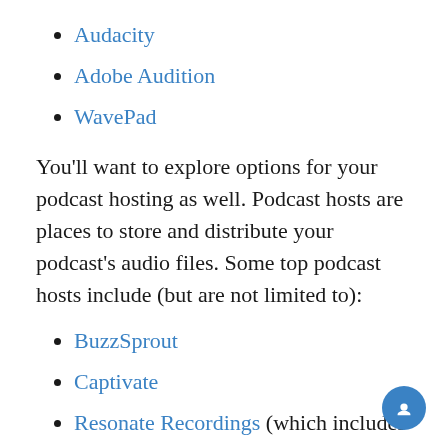Audacity
Adobe Audition
WavePad
You’ll want to explore options for your podcast hosting as well. Podcast hosts are places to store and distribute your podcast’s audio files. Some top podcast hosts include (but are not limited to):
BuzzSprout
Captivate
Resonate Recordings (which includes audio editing software as well)
Often, your podcasting host will help you